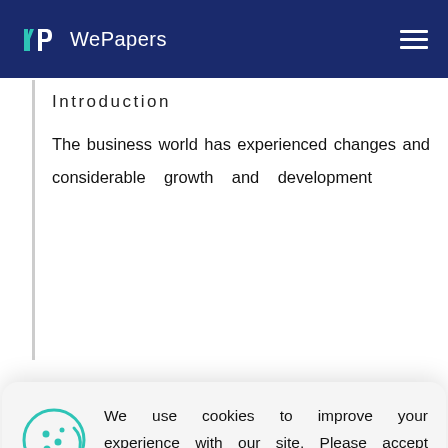WePapers
Introduction
The business world has experienced changes and considerable growth and development
[Figure (screenshot): Cookie consent banner with cookie icon, text about cookies, and ACCEPT button]
been driven by various factors such as the change in production processes in various firms. Given that the world has also experienced rapid developments in information and communication